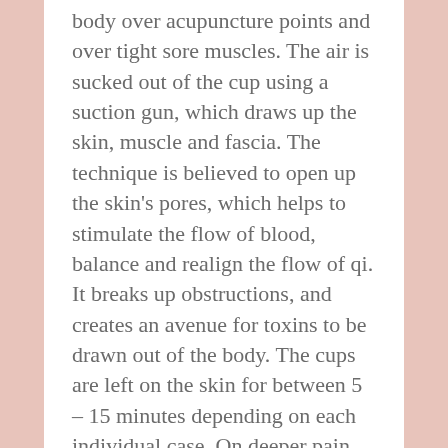body over acupuncture points and over tight sore muscles. The air is sucked out of the cup using a suction gun, which draws up the skin, muscle and fascia. The technique is believed to open up the skin's pores, which helps to stimulate the flow of blood, balance and realign the flow of qi. It breaks up obstructions, and creates an avenue for toxins to be drawn out of the body. The cups are left on the skin for between 5 – 15 minutes depending on each individual case. On deeper pain the cups my be applied and then moved causing the skin and muscle to be pulled, this is called gliding cupping. It is very relaxing and helps to relax and heal the tissues.